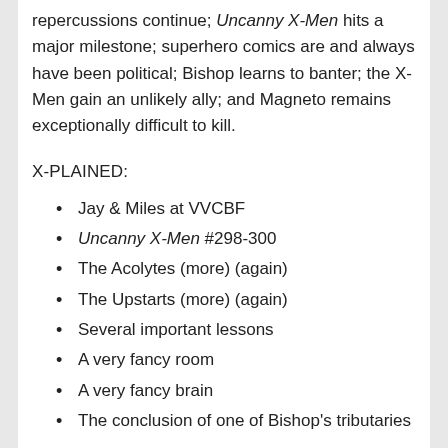repercussions continue; Uncanny X-Men hits a major milestone; superhero comics are and always have been political; Bishop learns to banter; the X-Men gain an unlikely ally; and Magneto remains exceptionally difficult to kill.
X-PLAINED:
Jay & Miles at VVCBF
Uncanny X-Men #298-300
The Acolytes (more) (again)
The Upstarts (more) (again)
Several important lessons
A very fancy room
A very fancy brain
The conclusion of one of Bishop's tributaries